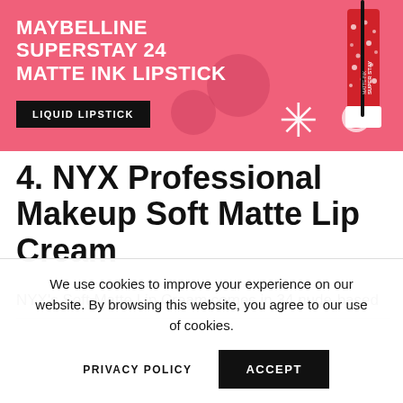[Figure (illustration): Pink banner advertisement for Maybelline Superstay 24 Matte Ink Lipstick with white bold text, a black 'LIQUID LIPSTICK' button, decorative snowflake and circle shapes, and an image of the lipstick product on the right side.]
4. NYX Professional Makeup Soft Matte Lip Cream
NYX's Soft Matte Lip Cream comes in 34 nude-based
We use cookies to improve your experience on our website. By browsing this website, you agree to our use of cookies.
PRIVACY POLICY   ACCEPT